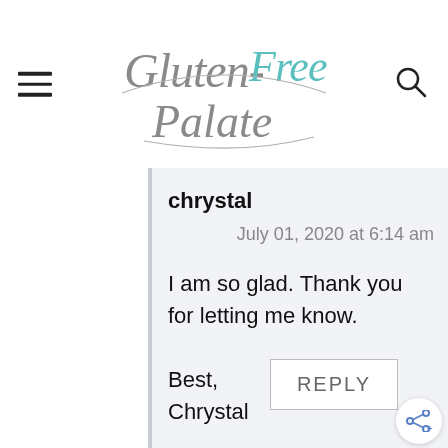[Figure (logo): Gluten-Free Palate logo in cursive script, with 'Free' in teal and the rest in gray]
chrystal
July 01, 2020 at 6:14 am
I am so glad. Thank you for letting me know.

Best,
Chrystal